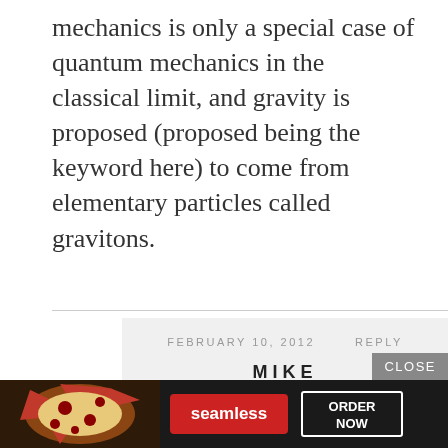mechanics is only a special case of quantum mechanics in the classical limit, and gravity is proposed (proposed being the keyword here) to come from elementary particles called gravitons.
FEBRUARY 10, 2012   REPLY
MIKE

Kong,
You said this:
“I understand not every aspect of the reproduction can be measured as of now.”
[Figure (infographic): Seamless food ordering advertisement banner with pizza image, seamless logo in red, and ORDER NOW button]